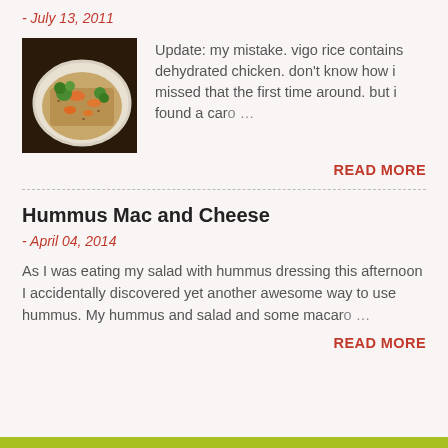- July 13, 2011
[Figure (photo): A plate of rice dish with vegetables including broccoli and carrots on a white plate]
Update: my mistake. vigo rice contains dehydrated chicken. don't know how i missed that the first time around. but i found a caro…
READ MORE
Hummus Mac and Cheese
- April 04, 2014
As I was eating my salad with hummus dressing this afternoon I accidentally discovered yet another awesome way to use hummus. My hummus and salad and some macaro…
READ MORE